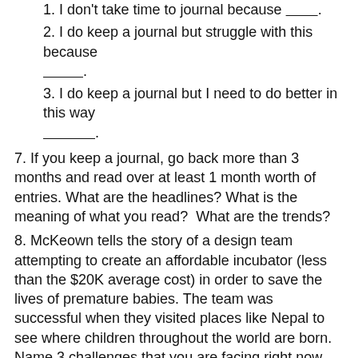1. I don't take time to journal because ________.
2. I do keep a journal but struggle with this because __________.
3. I do keep a journal but I need to do better in this way _____________.
7. If you keep a journal, go back more than 3 months and read over at least 1 month worth of entries. What are the headlines? What is the meaning of what you read?  What are the trends?
8. McKeown tells the story of a design team attempting to create an affordable incubator (less than the $20K average cost) in order to save the lives of premature babies. The team was successful when they visited places like Nepal to see where children throughout the world are born.  Name 3 challenges that you are facing right now and think about how you can step away, and get a longer perspective for clarity.  Reflect on ways you can “get out into the field.”
9. sometimes we face problems that are resistant to